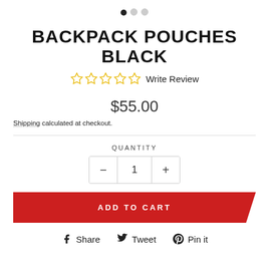[Figure (other): Image carousel navigation dots (one filled, two empty)]
BACKPACK POUCHES BLACK
☆☆☆☆☆ Write Review
$55.00
Shipping calculated at checkout.
QUANTITY
— 1 +
ADD TO CART
Share  Tweet  Pin it